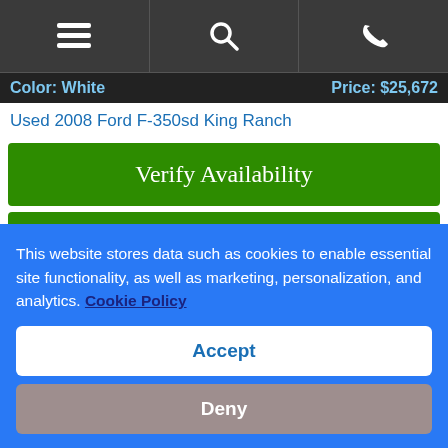[Figure (screenshot): Mobile navigation bar with hamburger menu, search, and phone icons on dark background]
Color: White    Price: $25,672
Used 2008 Ford F-350sd King Ranch
Verify Availability
Vehicle Details
[Figure (photo): Vehicle listing photo strip with DRV PNK badge and trees in background. Stock #JZ204353 shown in upper right.]
This website stores data such as cookies to enable essential site functionality, as well as marketing, personalization, and analytics. Cookie Policy
Accept
Deny